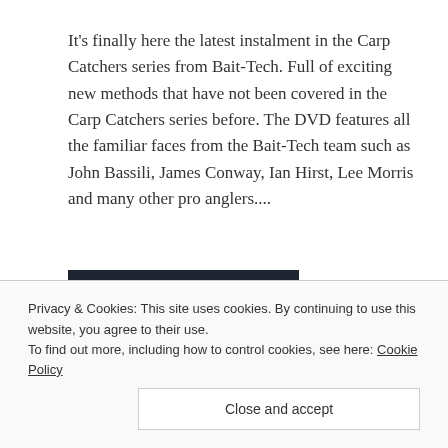It's finally here the latest instalment in the Carp Catchers series from Bait-Tech. Full of exciting new methods that have not been covered in the Carp Catchers series before. The DVD features all the familiar faces from the Bait-Tech team such as John Bassili, James Conway, Ian Hirst, Lee Morris and many other pro anglers....
CONTINUE READING
Privacy & Cookies: This site uses cookies. By continuing to use this website, you agree to their use.
To find out more, including how to control cookies, see here: Cookie Policy
Close and accept